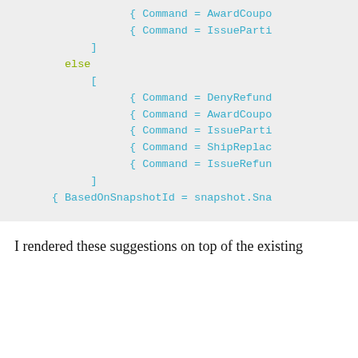[Figure (screenshot): Code snippet showing F# or similar functional language code with 'else' keyword in olive/green, and Command assignments in cyan/blue on a light gray background.]
I rendered these suggestions on top of the existing